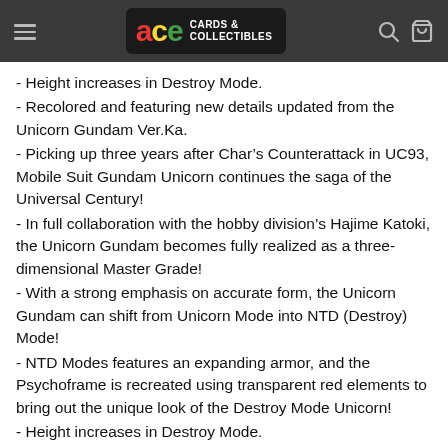ace CARDS & COLLECTIBLES
- Height increases in Destroy Mode.
- Recolored and featuring new details updated from the Unicorn Gundam Ver.Ka.
- Picking up three years after Char’s Counterattack in UC93, Mobile Suit Gundam Unicorn continues the saga of the Universal Century!
- In full collaboration with the hobby division’s Hajime Katoki, the Unicorn Gundam becomes fully realized as a three-dimensional Master Grade!
- With a strong emphasis on accurate form, the Unicorn Gundam can shift from Unicorn Mode into NTD (Destroy) Mode!
- NTD Modes features an expanding armor, and the Psychoframe is recreated using transparent red elements to bring out the unique look of the Destroy Mode Unicorn!
- Height increases in Destroy Mode.
[Accessories]